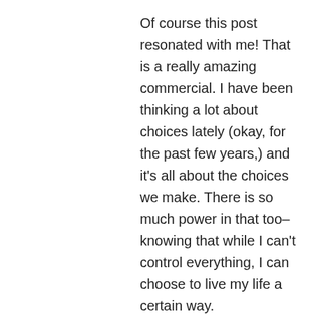Of course this post resonated with me! That is a really amazing commercial. I have been thinking a lot about choices lately (okay, for the past few years,) and it's all about the choices we make. There is so much power in that too– knowing that while I can't control everything, I can choose to live my life a certain way.
I'm a little confused as to why your company would use that first video to stress the importance of being prepared. I see nothing of that in the video. I agree with you– heart is a great way to describe that. Great post, Andy. Thanks for a little dose of motivation and inspiration today.